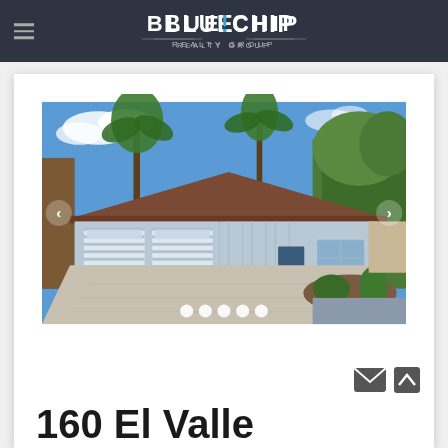BLUE CHIP REALTY GROUP
[Figure (photo): Exterior photo of a single-story residential home with a large two-car garage, blue/gray siding, brown roof, palm trees and other trees in the background, driveway in foreground, sunny day with blue sky and white clouds. Slideshow navigation arrows and dot indicators visible.]
160 El Valle